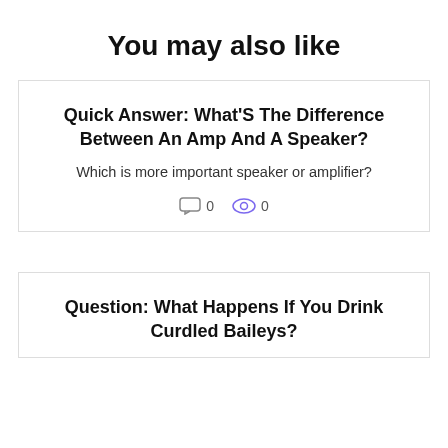You may also like
Quick Answer: What'S The Difference Between An Amp And A Speaker?
Which is more important speaker or amplifier?
0  0
Question: What Happens If You Drink Curdled Baileys?